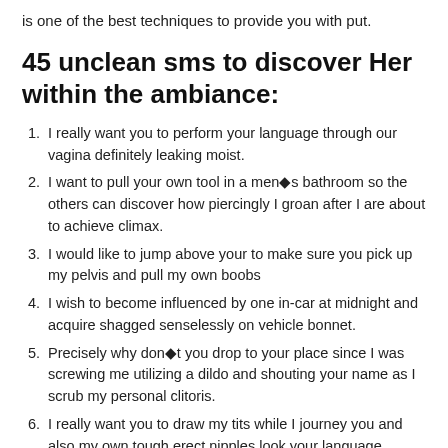is one of the best techniques to provide you with put.
45 unclean sms to discover Her within the ambiance:
I really want you to perform your language through our vagina definitely leaking moist.
I want to pull your own tool in a men◆s bathroom so the others can discover how piercingly I groan after I are about to achieve climax.
I would like to jump above your to make sure you pick up my pelvis and pull my own boobs
I wish to become influenced by one in-car at midnight and acquire shagged senselessly on vehicle bonnet.
Precisely why don◆t you drop to your place since I was screwing me utilizing a dildo and shouting your name as I scrub my personal clitoris.
I really want you to draw my tits while I journey you and also my own tough erect nipples look your language